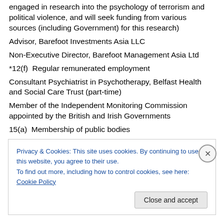engaged in research into the psychology of terrorism and political violence, and will seek funding from various sources (including Government) for this research)
Advisor, Barefoot Investments Asia LLC
Non-Executive Director, Barefoot Management Asia Ltd
*12(f)  Regular remunerated employment
Consultant Psychiatrist in Psychotherapy, Belfast Health and Social Care Trust (part-time)
Member of the Independent Monitoring Commission appointed by the British and Irish Governments
15(a)  Membership of public bodies
Privacy & Cookies: This site uses cookies. By continuing to use this website, you agree to their use.
To find out more, including how to control cookies, see here: Cookie Policy